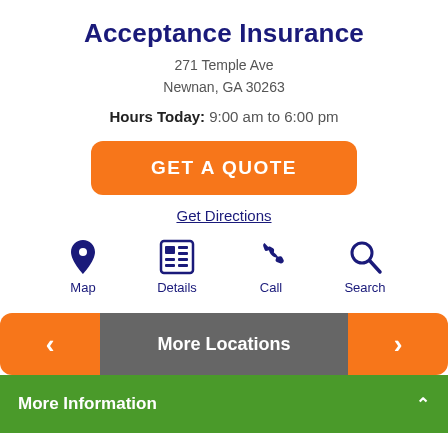Acceptance Insurance
271 Temple Ave
Newnan, GA 30263
Hours Today: 9:00 am to 6:00 pm
GET A QUOTE
Get Directions
[Figure (infographic): Four navigation icons with labels: Map (location pin), Details (newspaper grid), Call (phone handset), Search (magnifying glass)]
More Locations
More Information
Looking for affordable insurance? Our friendly local agents shop for you! Call, click, or come in to an Acceptance office near